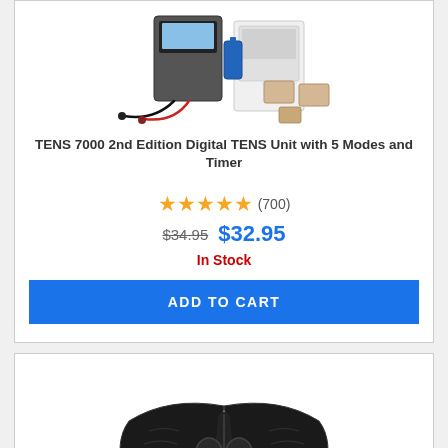[Figure (photo): TENS 7000 2nd Edition Digital TENS Unit product photo showing the device, cables, electrodes, and accessories]
TENS 7000 2nd Edition Digital TENS Unit with 5 Modes and Timer
★★★★★ (700)
$34.95  $32.95
In Stock
ADD TO CART
[Figure (photo): Black back brace / lumbar support belt product photo]